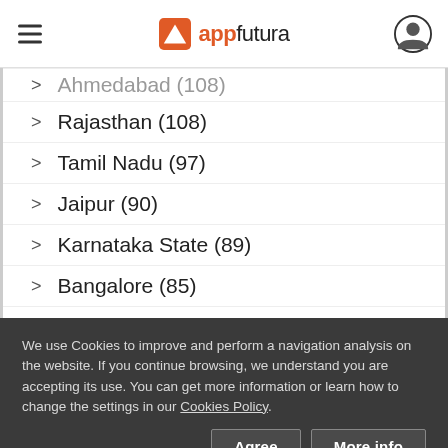appfutura
Ahmedabad (108)
Rajasthan (108)
Tamil Nadu (97)
Jaipur (90)
Karnataka State (89)
Bangalore (85)
Uttar Pradesh (85)
We use Cookies to improve and perform a navigation analysis on the website. If you continue browsing, we understand you are accepting its use. You can get more information or learn how to change the settings in our Cookies Policy.